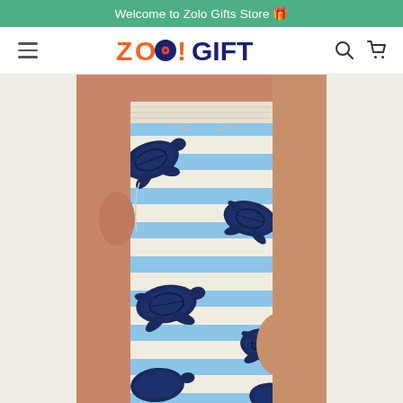Welcome to Zolo Gifts Store 🎁
[Figure (logo): ZoloGift store logo with orange and navy blue lettering]
[Figure (photo): Man wearing swim shorts with blue and white horizontal stripes and dark navy sea turtle print pattern]